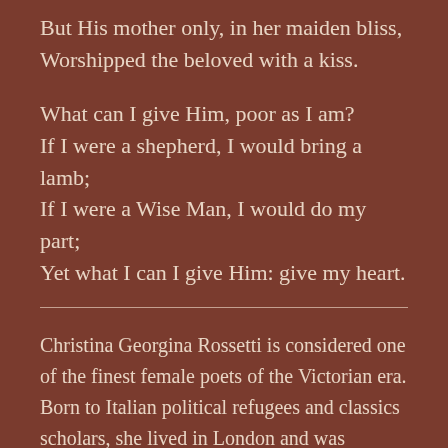But His mother only, in her maiden bliss,
Worshipped the beloved with a kiss.
What can I give Him, poor as I am?
If I were a shepherd, I would bring a lamb;
If I were a Wise Man, I would do my part;
Yet what I can I give Him: give my heart.
Christina Georgina Rossetti is considered one of the finest female poets of the Victorian era. Born to Italian political refugees and classics scholars, she lived in London and was homeschooled. She began writing poetry by age 12. She suffered from bouts of depression which she soothed with religious devotion. A noted beauty, Rosetti never married but was engaged three